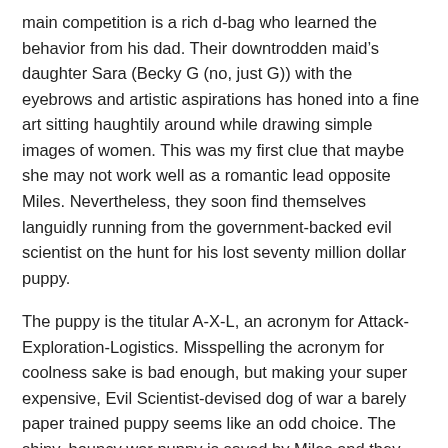main competition is a rich d-bag who learned the behavior from his dad. Their downtrodden maid's daughter Sara (Becky G (no, just G)) with the eyebrows and artistic aspirations has honed into a fine art sitting haughtily around while drawing simple images of women. This was my first clue that maybe she may not work well as a romantic lead opposite Miles. Nevertheless, they soon find themselves languidly running from the government-backed evil scientist on the hunt for his lost seventy million dollar puppy.
The puppy is the titular A-X-L, an acronym for Attack-Exploration-Logistics. Misspelling the acronym for coolness sake is bad enough, but making your super expensive, Evil Scientist-devised dog of war a barely paper trained puppy seems like an odd choice. The shiny, bouncy war puppy is saved by Miles and they quickly bond by playing chase (motocross bike versus jet propelled dog), “gnawing” on “bones” (grinding metal with sawblade canines), and “pulling on a rope” (hauling a big truck out of a rut). The puppy is about three times the size of Miles’ bike, growls impressively and is theoretically equipped with all manner of war machines. Still, it continually needs to be saved by a